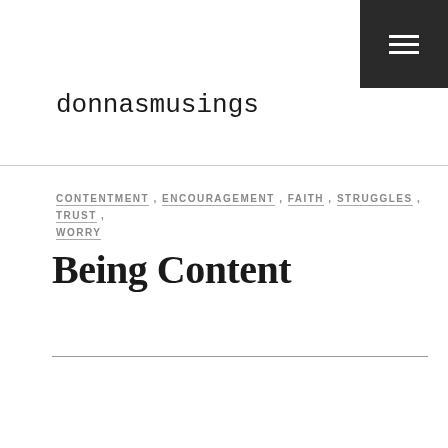donnasmusings
CONTENTMENT, ENCOURAGEMENT, FAITH, STRUGGLES, TRUST, WORRY
Being Content